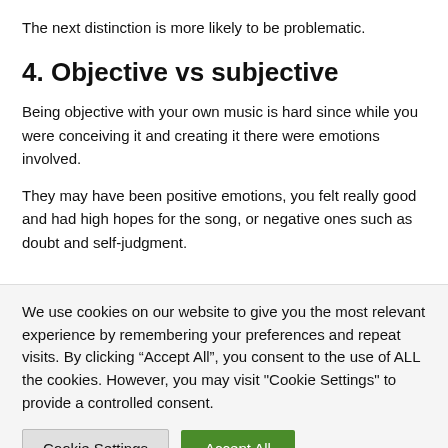The next distinction is more likely to be problematic.
4. Objective vs subjective
Being objective with your own music is hard since while you were conceiving it and creating it there were emotions involved.
They may have been positive emotions, you felt really good and had high hopes for the song, or negative ones such as doubt and self-judgment.
We use cookies on our website to give you the most relevant experience by remembering your preferences and repeat visits. By clicking “Accept All”, you consent to the use of ALL the cookies. However, you may visit "Cookie Settings" to provide a controlled consent.